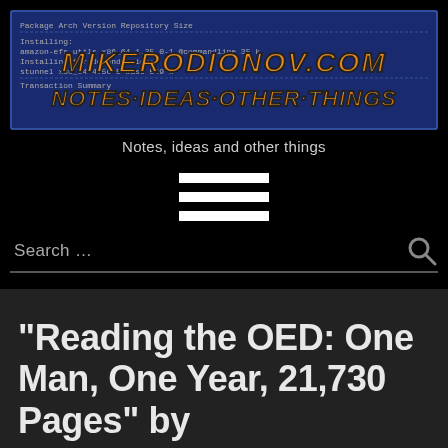[Figure (screenshot): Website header logo for mikerodionov.com showing a terminal/package manager screenshot background with orange and yellow stylized text reading MIKERODIONOV.COM and NOTES·IDEAS·OTHER·THINGS overlaid]
Notes, ideas and other things
[Figure (other): Hamburger menu icon: three white horizontal bars]
Search …
“Reading the OED: One Man, One Year, 21,730 Pages” by